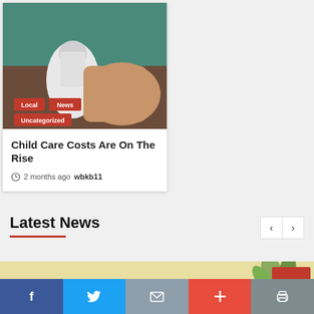[Figure (photo): News article thumbnail showing a white device/bottle held by a person in a green/teal shirt. Red category tags overlaid at bottom left.]
Child Care Costs Are On The Rise
2 months ago  wbkb11
Latest News
[Figure (photo): Latest News carousel strip showing a beige/cream background with a red box and plant on the right side.]
[Figure (infographic): Social sharing bar with Facebook, Twitter, Email, Plus, and Print buttons.]